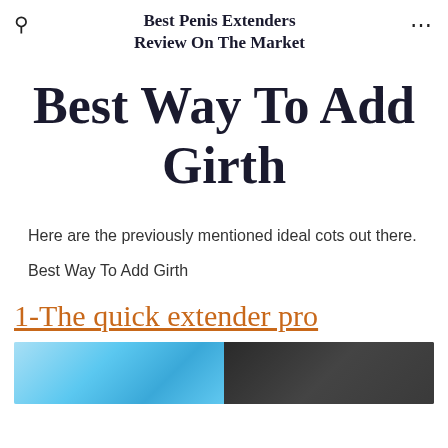Best Penis Extenders Review On The Market
Best Way To Add Girth
Here are the previously mentioned ideal cots out there.
Best Way To Add Girth
1-The quick extender pro
[Figure (photo): Product images showing blue device on left and black device on right]